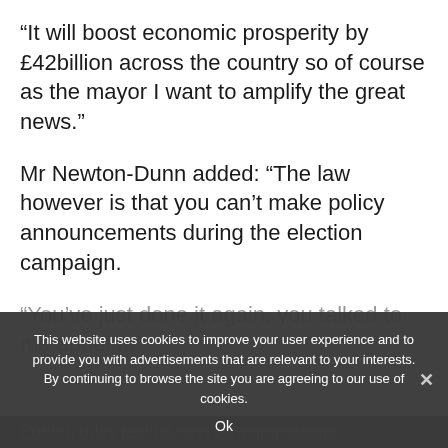“It will boost economic prosperity by £42billion across the country so of course as the mayor I want to amplify the great news.”
Mr Newton-Dunn added: “The law however is that you can’t make policy announcements during the election campaign.
“You’ve just done it again, you talked to me about it.”
This website uses cookies to improve your user experience and to provide you with advertisements that are relevant to your interests. By continuing to browse the site you are agreeing to our use of cookies.
Ok
Purdah rules restrict govt communications